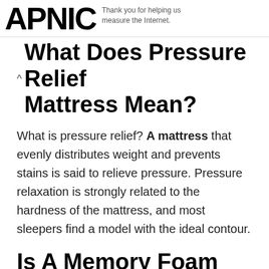APNIC — Thank you for helping us measure the Internet.
What Does Pressure Relief Mattress Mean?
What is pressure relief? A mattress that evenly distributes weight and prevents stains is said to relieve pressure. Pressure relaxation is strongly related to the hardness of the mattress, and most sleepers find a model with the ideal contour.
Is A Memory Foam Mattress Good For Pressure Sores?